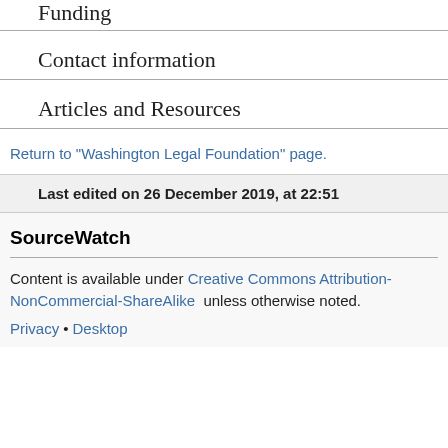Funding
Contact information
Articles and Resources
Return to "Washington Legal Foundation" page.
Last edited on 26 December 2019, at 22:51
SourceWatch
Content is available under Creative Commons Attribution-NonCommercial-ShareAlike unless otherwise noted.
Privacy • Desktop